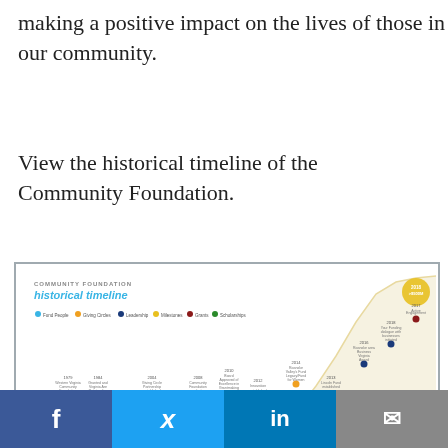making a positive impact on the lives of those in our community.
View the historical timeline of the Community Foundation.
[Figure (infographic): Community Foundation historical timeline infographic showing milestones from early years through 2018, with a rising curve reaching >$500M, colored dots for different categories (Fund People, Giving Circles, Leadership, Milestones, Grants, Scholarships), and a logo at the bottom left.]
[Figure (other): Social media share bar with Facebook, Twitter, LinkedIn, and email icons]